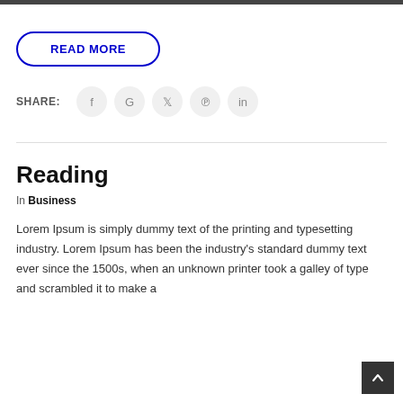READ MORE
SHARE:
Reading
In Business
Lorem Ipsum is simply dummy text of the printing and typesetting industry. Lorem Ipsum has been the industry's standard dummy text ever since the 1500s, when an unknown printer took a galley of type and scrambled it to make a